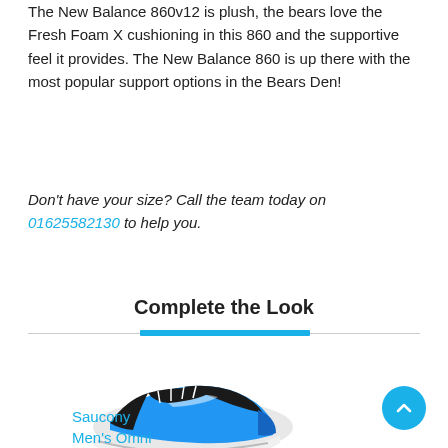The New Balance 860v12 is plush, the bears love the Fresh Foam X cushioning in this 860 and the supportive feel it provides. The New Balance 860 is up there with the most popular support options in the Bears Den!
Don't have your size? Call the team today on 01625582130 to help you.
Complete the Look
[Figure (photo): Blue and black Saucony running shoe on white background]
Saucony
Men's Omni